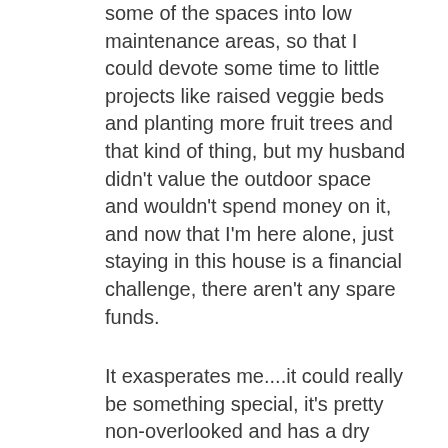some of the spaces into low maintenance areas, so that I could devote some time to little projects like raised veggie beds and planting more fruit trees and that kind of thing, but my husband didn't value the outdoor space and wouldn't spend money on it, and now that I'm here alone, just staying in this house is a financial challenge, there aren't any spare funds.
It exasperates me....it could really be something special, it's pretty non-overlooked and has a dry stone wall like you see around fields of sheep over here along the rear boundary with very  tall mature trees beyond that, which are not on my land but overhang it giving a foresty feel to the bottom end of the garden, whilst the top, less shaded portion could be a good